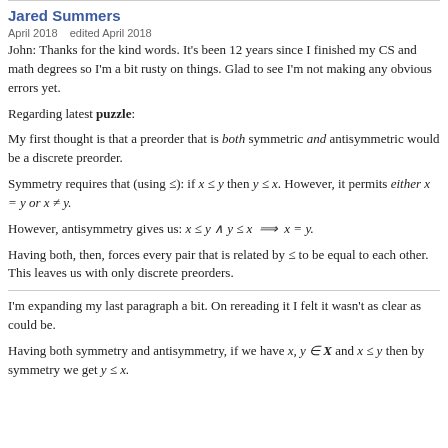it likes.
Jared Summers
April 2018    edited April 2018
John: Thanks for the kind words. It's been 12 years since I finished my CS and math degrees so I'm a bit rusty on things. Glad to see I'm not making any obvious errors yet.
Regarding latest puzzle:
My first thought is that a preorder that is both symmetric and antisymmetric would be a discrete preorder.
Symmetry requires that (using ≤): if x ≤ y then y ≤ x. However, it permits either x = y or x ≠ y.
However, antisymmetry gives us: x ≤ y ∧ y ≤ x ⟹ x = y.
Having both, then, forces every pair that is related by ≤ to be equal to each other. This leaves us with only discrete preorders.
I'm expanding my last paragraph a bit. On rereading it I felt it wasn't as clear as could be.
Having both symmetry and antisymmetry, if we have x, y ∈ X and x ≤ y then by symmetry we get y ≤ x.